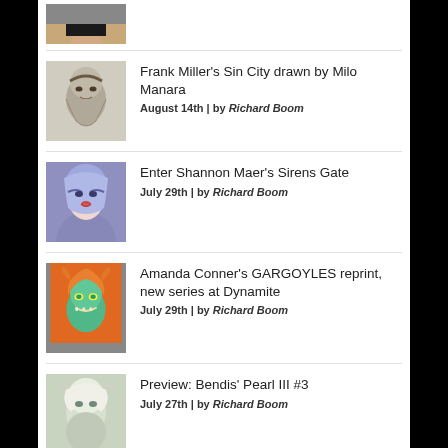[Figure (photo): Partial thumbnail of a woman's face at top of page]
[Figure (illustration): Sketch/illustration thumbnail for Frank Miller's Sin City drawn by Milo Manara]
Frank Miller's Sin City drawn by Milo Manara
August 14th | by Richard Boom
[Figure (illustration): Illustration thumbnail for Enter Shannon Maer's Sirens Gate - woman with blue/purple hair]
Enter Shannon Maer's Sirens Gate
July 29th | by Richard Boom
[Figure (illustration): Comic illustration thumbnail for Amanda Conner's GARGOYLES - orange-haired blue-skinned character]
Amanda Conner's GARGOYLES reprint, new series at Dynamite
July 29th | by Richard Boom
[Figure (illustration): Illustration thumbnail for Preview: Bendis' Pearl III #3 - white-haired woman]
Preview: Bendis' Pearl III #3
July 27th | by Richard Boom
[Figure (illustration): Illustration thumbnail for Cat-Man & Kitten Special - masked character in red]
Cat-Man & Kitten Special Spins out of Project Superpowers
July 19th | by Richard Boom